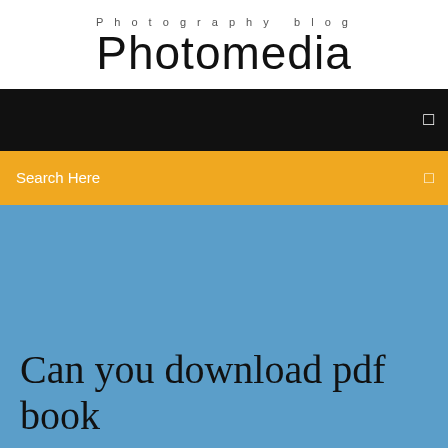Photography blog
Photomedia
[Figure (screenshot): Black navigation bar with hamburger/menu icon on the right]
Search Here
Can you download pdf book